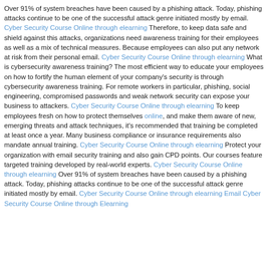Over 91% of system breaches have been caused by a phishing attack. Today, phishing attacks continue to be one of the successful attack genre initiated mostly by email. Cyber Security Course Online through elearning Therefore, to keep data safe and shield against this attacks, organizations need awareness training for their employees as well as a mix of technical measures. Because employees can also put any network at risk from their personal email. Cyber Security Course Online through elearning What is cybersecurity awareness training? The most efficient way to educate your employees on how to fortify the human element of your company's security is through cybersecurity awareness training. For remote workers in particular, phishing, social engineering, compromised passwords and weak network security can expose your business to attackers. Cyber Security Course Online through elearning To keep employees fresh on how to protect themselves online, and make them aware of new, emerging threats and attack techniques, it's recommended that training be completed at least once a year. Many business compliance or insurance requirements also mandate annual training. Cyber Security Course Online through elearning Protect your organization with email security training and also gain CPD points. Our courses feature targeted training developed by real-world experts. Cyber Security Course Online through elearning Over 91% of system breaches have been caused by a phishing attack. Today, phishing attacks continue to be one of the successful attack genre initiated mostly by email. Cyber Security Course Online through elearning Email Cyber Security Course Online through Elearning